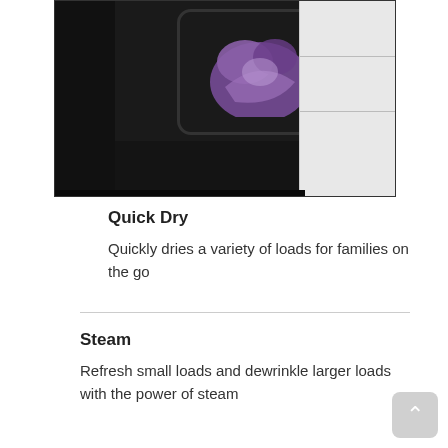[Figure (photo): A dark/black dryer appliance with a round glass door window showing purple clothing inside, with white cabinet panels visible to the right]
Quick Dry
Quickly dries a variety of loads for families on the go
Steam
Refresh small loads and dewrinkle larger loads with the power of steam